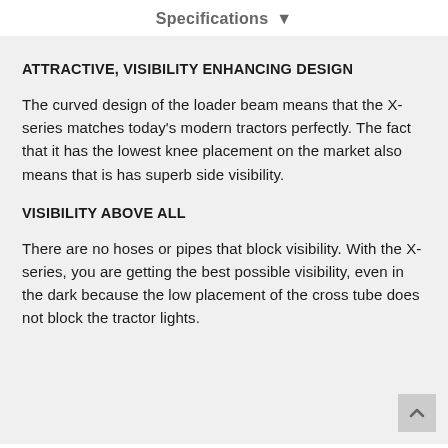Specifications ▾
ATTRACTIVE, VISIBILITY ENHANCING DESIGN
The curved design of the loader beam means that the X-series matches today's modern tractors perfectly. The fact that it has the lowest knee placement on the market also means that is has superb side visibility.
VISIBILITY ABOVE ALL
There are no hoses or pipes that block visibility. With the X-series, you are getting the best possible visibility, even in the dark because the low placement of the cross tube does not block the tractor lights.